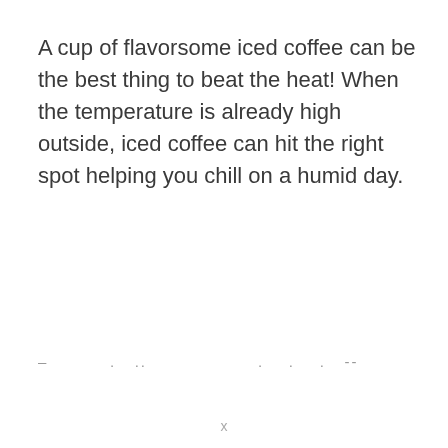A cup of flavorsome iced coffee can be the best thing to beat the heat! When the temperature is already high outside, iced coffee can hit the right spot helping you chill on a humid day.
–          .   ..                    .    .    .   --
x